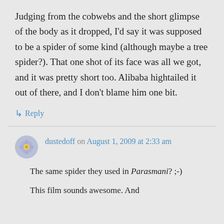Judging from the cobwebs and the short glimpse of the body as it dropped, I'd say it was supposed to be a spider of some kind (although maybe a tree spider?). That one shot of its face was all we got, and it was pretty short too. Alibaba hightailed it out of there, and I don't blame him one bit.
↳ Reply
dustedoff on August 1, 2009 at 2:33 am
The same spider they used in Parasmani? ;-)
This film sounds awesome. And